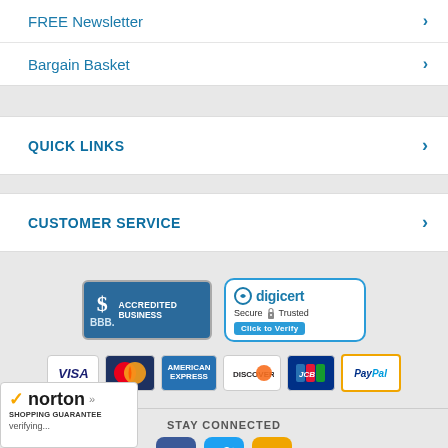FREE Newsletter
Bargain Basket
QUICK LINKS
CUSTOMER SERVICE
[Figure (logo): BBB Accredited Business badge and DigiCert Secure Trusted Click to Verify badge]
[Figure (logo): Payment method icons: VISA, MasterCard, American Express, Discover, JCB, PayPal]
STAY CONNECTED
[Figure (logo): Social media icons: Facebook, Twitter, Blog]
[Figure (logo): Norton Shopping Guarantee badge with verifying... text]